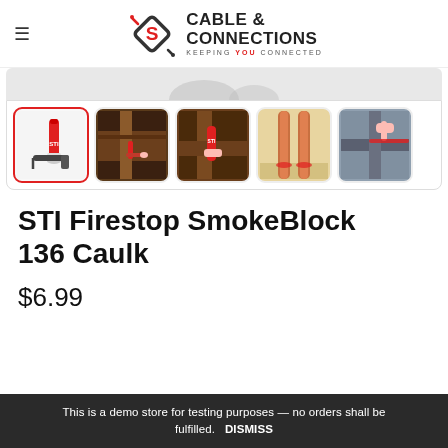Cable & Connections — Keeping You Connected
[Figure (photo): Product image gallery showing STI Firestop SmokeBlock 136 Caulk — thumbnail strip with 5 images: caulk tube product shot (selected, red border), person applying caulk to wooden frame, hand holding caulk tube near wood, pipe penetration sealed, hand applying caulk to wall joint]
STI Firestop SmokeBlock 136 Caulk
$6.99
This is a demo store for testing purposes — no orders shall be fulfilled.   DISMISS